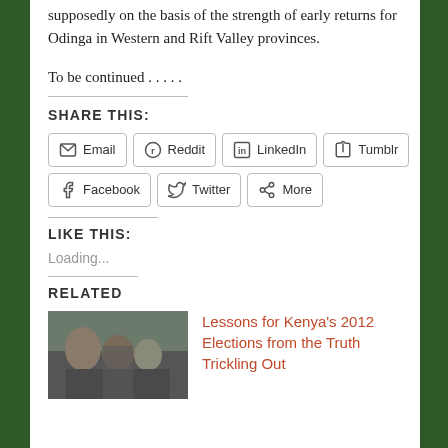supposedly on the basis of the strength of early returns for Odinga in Western and Rift Valley provinces.
To be continued . . . . .
SHARE THIS:
Email | Reddit | LinkedIn | Tumblr | Facebook | Twitter | More
LIKE THIS:
Loading...
RELATED
[Figure (photo): A street scene photograph showing people near a vehicle or bus, related article thumbnail.]
Lessons for Kenya's 2012 Elections from the Truth Trickling Out